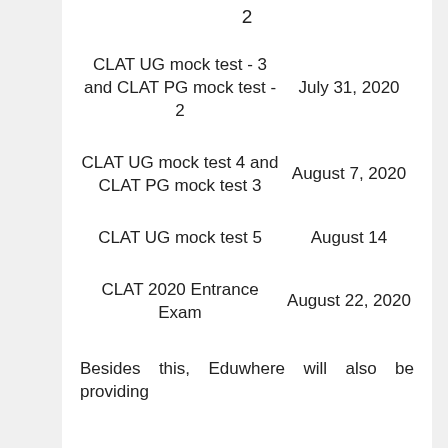2
| Event | Date |
| --- | --- |
| CLAT UG mock test - 3 and CLAT PG mock test - 2 | July 31, 2020 |
| CLAT UG mock test 4 and CLAT PG mock test 3 | August 7, 2020 |
| CLAT UG mock test 5 | August 14 |
| CLAT 2020 Entrance Exam | August 22, 2020 |
Besides this, Eduwhere will also be providing